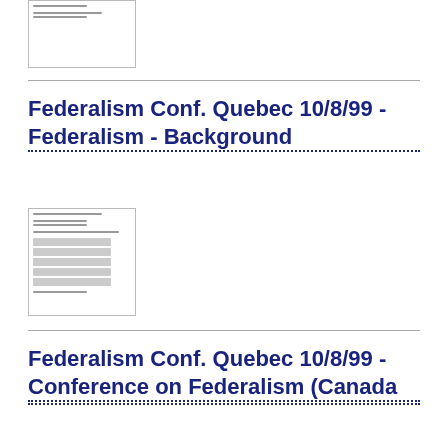[Figure (other): Thumbnail image of a document page (top, partially visible)]
Federalism Conf. Quebec 10/8/99 - Federalism - Background
[Figure (other): Thumbnail image of a document page with header text and body content]
Federalism Conf. Quebec 10/8/99 - Conference on Federalism (Canada